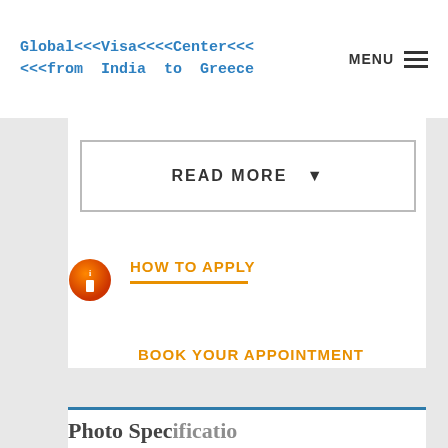Global Visa Center from India to Greece | MENU
READ MORE ▼
HOW TO APPLY
BOOK YOUR APPOINTMENT
Photo Specifications